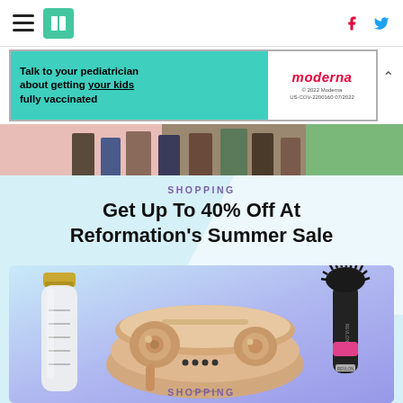HuffPost navigation with hamburger menu, logo, Facebook and Twitter icons
[Figure (screenshot): Moderna advertisement banner: 'Talk to your pediatrician about getting your kids fully vaccinated' with Moderna logo and disclaimer text]
[Figure (photo): Top portion of fashion/clothing image showing people's lower bodies]
SHOPPING
Get Up To 40% Off At Reformation's Summer Sale
[Figure (photo): Product collage showing a white water bottle with gold cap, rose gold wireless earbuds in charging case, and a black and pink hot air brush hair styling tool, on a light blue/purple gradient background]
SHOPPING